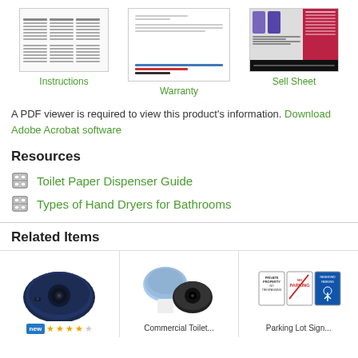[Figure (illustration): Three document thumbnail images labeled Instructions, Warranty, and Sell Sheet]
Instructions
Warranty
Sell Sheet
A PDF viewer is required to view this product's information. Download Adobe Acrobat software
Resources
Toilet Paper Dispenser Guide
Types of Hand Dryers for Bathrooms
Related Items
[Figure (photo): Dark blue jumbo toilet paper dispenser]
[Figure (photo): Commercial toilet paper dispenser, blue translucent top with black base]
[Figure (photo): Parking lot signs: Private Property No Trespassing, No Parking, Reserved Parking handicap]
Commercial Toilet...
Parking Lot Sign...